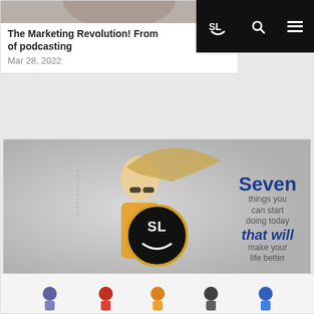[Figure (screenshot): Navigation bar with SL logo, search icon, and hamburger menu on black background]
[Figure (photo): Cropped image at top of first article card showing a person]
The Marketing Revolution! From of podcasting
Mar 28, 2022
[Figure (photo): Woman with flowing hair in yellow tank top and sunglasses with text overlay: Seven things you can start doing today that will make your life better]
7 Things You Can Start Doing Today That Will Make Your Life Better
May 5, 2015
[Figure (logo): Strategy Lab circular logo - SL with smiley face in black and gold circle]
[Figure (illustration): Partial view of superhero cartoon characters at bottom of page]